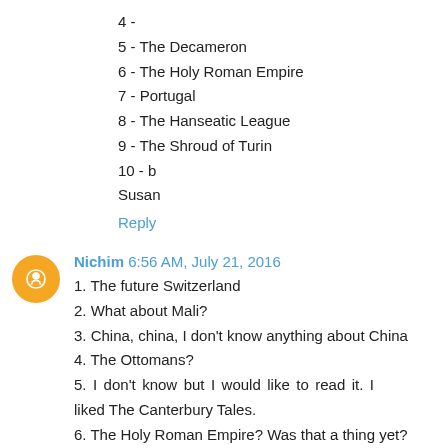4 -
5 - The Decameron
6 - The Holy Roman Empire
7 - Portugal
8 - The Hanseatic League
9 - The Shroud of Turin
10 - b
Susan
Reply
Nichim  6:56 AM, July 21, 2016
1. The future Switzerland
2. What about Mali?
3. China, china, I don't know anything about China
4. The Ottomans?
5.  I don't know but I would like to read it. I liked The Canterbury Tales.
6. The Holy Roman Empire? Was that a thing yet?
7. Sounds like Spain.
8. I really want to know!